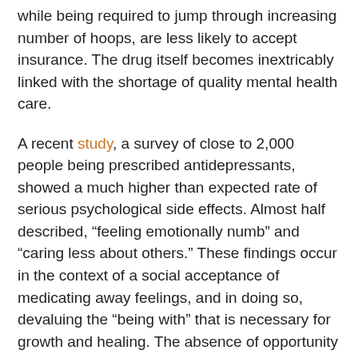while being required to jump through increasing number of hoops, are less likely to accept insurance. The drug itself becomes inextricably linked with the shortage of quality mental health care.
A recent study, a survey of close to 2,000 people being prescribed antidepressants, showed a much higher than expected rate of serious psychological side effects. Almost half described, “feeling emotionally numb” and “caring less about others.” These findings occur in the context of a social acceptance of medicating away feelings, and in doing so, devaluing the “being with” that is necessary for growth and healing. The absence of opportunity for meaningful human connection where feelings are recognized and understood, in combination with these psychological side effects, may be what leads to increased risk of suicidal behavior.
I wonder if before we can change what we do, we need to change how we think. Prescribing psychiatric medication to a child without simultaneously offering